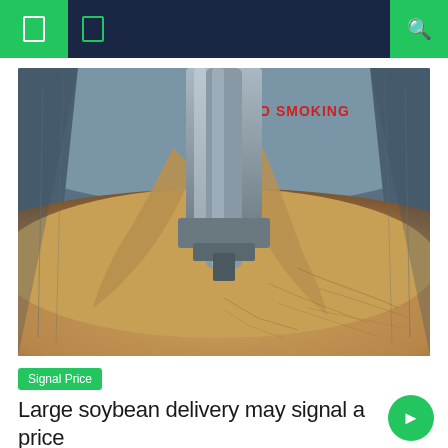Signal Price | Search
[Figure (photo): Industrial grain loading machinery pouring soybeans or grain into a large ship cargo hold. The machinery has metal conveyors and the hold is filled with golden-brown grain. A 'NO SMOKING' sign is visible in red on the background wall.]
Signal Price
Large soybean delivery may signal a price correction